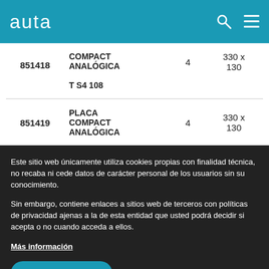auta
| 851418 | COMPACT ANALÓGICA T S4 108 | 4 | 330 x 130 |
| 851419 | PLACA COMPACT ANALÓGICA | 4 | 330 x 130 |
Este sitio web únicamente utiliza cookies propias con finalidad técnica, no recaba ni cede datos de carácter personal de los usuarios sin su conocimiento.
Sin embargo, contiene enlaces a sitios web de terceros con políticas de privacidad ajenas a la de esta entidad que usted podrá decidir si acepta o no cuando acceda a ellos.
Más información
Estoy de acuerdo